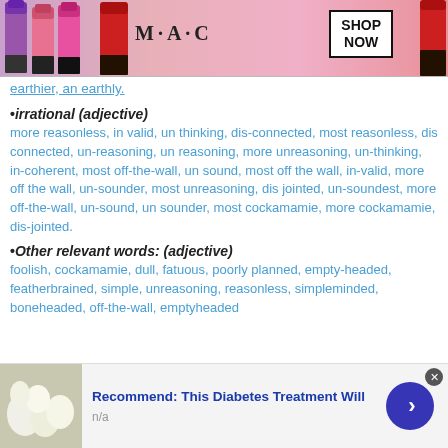[Figure (advertisement): MAC cosmetics advertisement banner with lipsticks and SHOP NOW button]
earthier, an earthly.
•irrational (adjective)
more reasonless, in valid, un thinking, dis-connected, most reasonless, dis connected, un-reasoning, un reasoning, more unreasoning, un-thinking, in-coherent, most off-the-wall, un sound, most off the wall, in-valid, more off the wall, un-sounder, most unreasoning, dis jointed, un-soundest, more off-the-wall, un-sound, un sounder, most cockamamie, more cockamamie, dis-jointed.
•Other relevant words: (adjective)
foolish, cockamamie, dull, fatuous, poorly planned, empty-headed, featherbrained, simple, unreasoning, reasonless, simpleminded, boneheaded, off-the-wall, emptyheaded
[Figure (advertisement): Recommend: This Diabetes Treatment Will - ad banner with food image and arrow button]